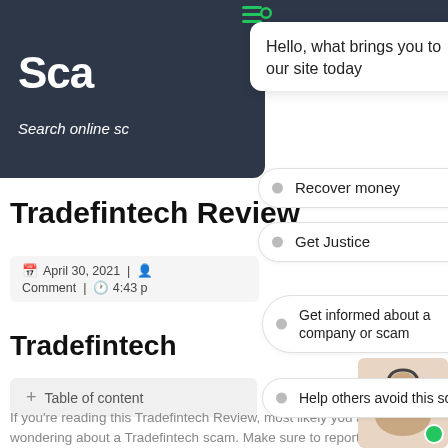[Figure (screenshot): Dark navigation header bar with 'Sca' text visible and 'Search online sc' italic text, with green hamburger menu icon area at top]
Hello, what brings you to our site today
Recover money
Tradefintech Review
Get Justice
April 30, 2021 | Comment | 4:43 p
Tradefinte
Get informed about a company or scam
+ Table of content
Help others avoid this scam
Find out if I have been scammed
If you're reading this Tradefintech Review, most likely you are wondering about a Tradefintech scam. Make sure to report a scam if you have issues withdrawing from Tradefintech
[Figure (photo): Customer support agent woman with headset in bottom right corner with green online indicator dot]